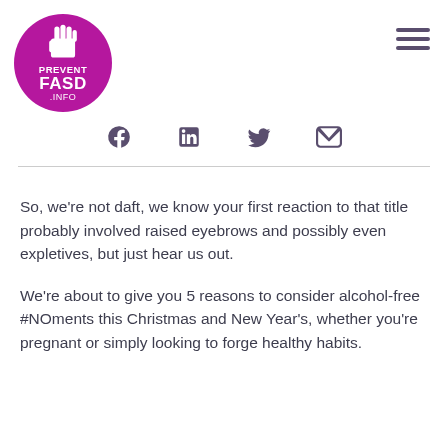[Figure (logo): Prevent FASD .INFO logo — purple circle with white hand icon and text]
[Figure (infographic): Hamburger menu icon (three horizontal lines) in dark purple]
[Figure (infographic): Social media icons row: Facebook, LinkedIn, Twitter, Email]
So, we're not daft, we know your first reaction to that title probably involved raised eyebrows and possibly even expletives, but just hear us out.
We're about to give you 5 reasons to consider alcohol-free #NOments this Christmas and New Year's, whether you're pregnant or simply looking to forge healthy habits.